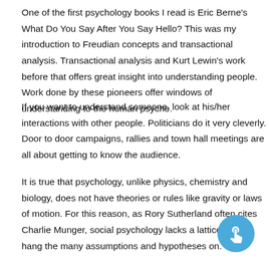One of the first psychology books I read is Eric Berne's What Do You Say After You Say Hello? This was my introduction to Freudian concepts and transactional analysis. Transactional analysis and Kurt Lewin's work before that offers great insight into understanding people. Work done by these pioneers offer windows of understanding to the human psyche.
If you want to understand someone, look at his/her interactions with other people. Politicians do it very cleverly. Door to door campaigns, rallies and town hall meetings are all about getting to know the audience.
It is true that psychology, unlike physics, chemistry and biology, does not have theories or rules like gravity or laws of motion. For this reason, as Rory Sutherland often cites Charlie Munger, social psychology lacks a latticework to hang the many assumptions and hypotheses on.